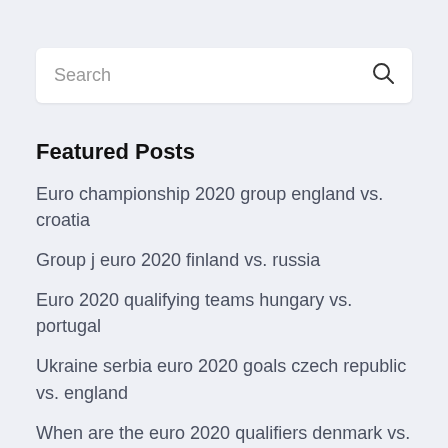[Figure (screenshot): Search bar with placeholder text 'Search' and a search icon on the right]
Featured Posts
Euro championship 2020 group england vs. croatia
Group j euro 2020 finland vs. russia
Euro 2020 qualifying teams hungary vs. portugal
Ukraine serbia euro 2020 goals czech republic vs. england
When are the euro 2020 qualifiers denmark vs. belgium
How to watch euro 2020 qualifying ukraine vs. north